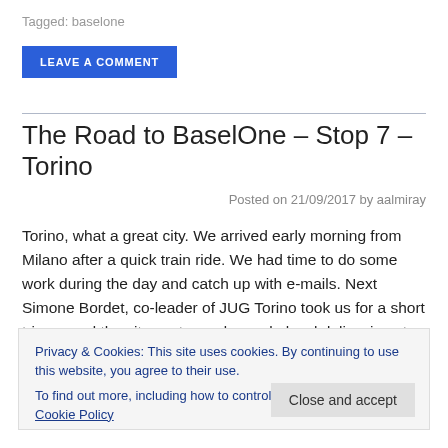Tagged: baselone
LEAVE A COMMENT
The Road to BaselOne – Stop 7 – Torino
Posted on 21/09/2017 by aalmiray
Torino, what a great city. We arrived early morning from Milano after a quick train ride. We had time to do some work during the day and catch up with e-mails. Next Simone Bordet, co-leader of JUG Torino took us for a short trip around the city center and sample local delicacies at Café Al Bicerin. There are
Privacy & Cookies: This site uses cookies. By continuing to use this website, you agree to their use.
To find out more, including how to control cookies, see here: Cookie Policy
Close and accept